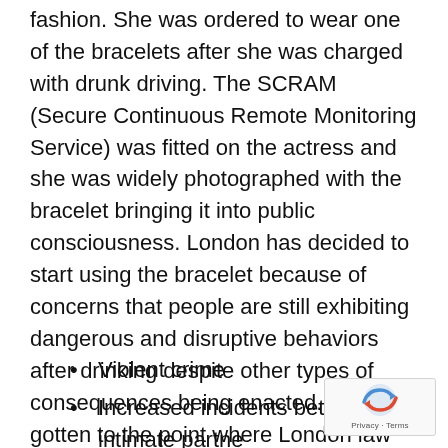fashion. She was ordered to wear one of the bracelets after she was charged with drunk driving. The SCRAM (Secure Continuous Remote Monitoring Service) was fitted on the actress and she was widely photographed with the bracelet bringing it into public consciousness. London has decided to start using the bracelet because of concerns that people are still exhibiting dangerous and disruptive behaviors after drinking despite other types of consequences being enacted. It has gotten to the point where London law enforcement believes that it's greatly hindering law-abiding citizens from enjoying their nights out on the town. Alcoholism breeds such problems as:
Violent crime
Increased incidents between intimate partners
Drunk driving